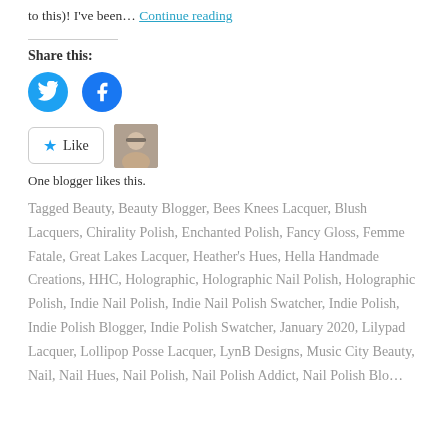to this)! I've been… Continue reading
Share this:
[Figure (illustration): Twitter and Facebook social share icon buttons (blue circles with white bird and f logos)]
[Figure (illustration): Like button with star icon and blogger avatar photo]
One blogger likes this.
Tagged Beauty, Beauty Blogger, Bees Knees Lacquer, Blush Lacquers, Chirality Polish, Enchanted Polish, Fancy Gloss, Femme Fatale, Great Lakes Lacquer, Heather's Hues, Hella Handmade Creations, HHC, Holographic, Holographic Nail Polish, Holographic Polish, Indie Nail Polish, Indie Nail Polish Swatcher, Indie Polish, Indie Polish Blogger, Indie Polish Swatcher, January 2020, Lilypad Lacquer, Lollipop Posse Lacquer, LynB Designs, Music City Beauty, Nail, Nail Hues, Nail Polish, Nail Polish Addict, Nail Polish Blog…